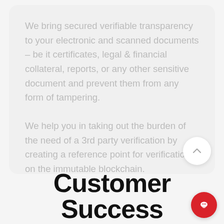We bring secured verifiable transparency to your electronic and scanned documents – be it certificates, legal & financial collateral, reports, or any other sensitive document and prevent them from any form of tampering.
We help you in taking out the burden of the need of a 3rd party verification by creating a reference point for verification on the immutable blockchain.
Customer Success